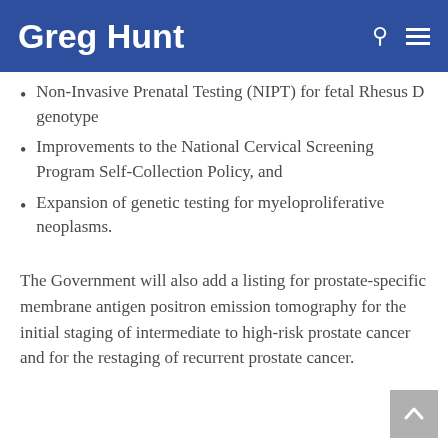Greg Hunt
Non-Invasive Prenatal Testing (NIPT) for fetal Rhesus D genotype
Improvements to the National Cervical Screening Program Self-Collection Policy, and
Expansion of genetic testing for myeloproliferative neoplasms.
The Government will also add a listing for prostate-specific membrane antigen positron emission tomography for the initial staging of intermediate to high-risk prostate cancer and for the restaging of recurrent prostate cancer.